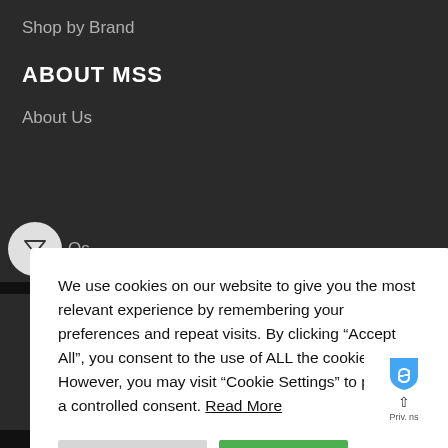Shop by Brand
ABOUT MSS
About Us
FAQs
We use cookies on our website to give you the most relevant experience by remembering your preferences and repeat visits. By clicking “Accept All”, you consent to the use of ALL the cookies. However, you may visit "Cookie Settings" to provide a controlled consent. Read More
Cookie Settings
Accept All
[Figure (screenshot): Privacy/reCAPTCHA widget showing a blue shield icon with a recycle-arrows logo, an up-arrow, and labels 'Priv.' and 'ns']
MSS FC SLT © 2024 WBF FCFA LCB & FDVL FDFVB4 AL